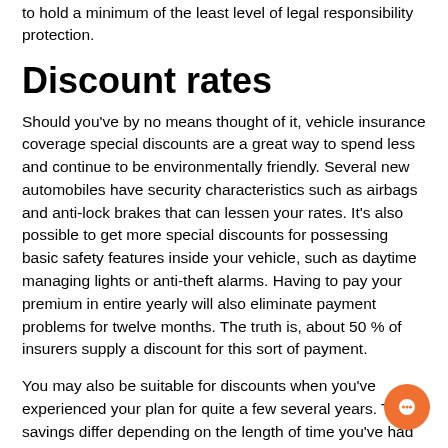to hold a minimum of the least level of legal responsibility protection.
Discount rates
Should you've by no means thought of it, vehicle insurance coverage special discounts are a great way to spend less and continue to be environmentally friendly. Several new automobiles have security characteristics such as airbags and anti-lock brakes that can lessen your rates. It's also possible to get more special discounts for possessing basic safety features inside your vehicle, such as daytime managing lights or anti-theft alarms. Having to pay your premium in entire yearly will also eliminate payment problems for twelve months. The truth is, about 50 % of insurers supply a discount for this sort of payment.
You may also be suitable for discounts when you've experienced your plan for quite a few several years. The savings differ depending on the length of time you've had